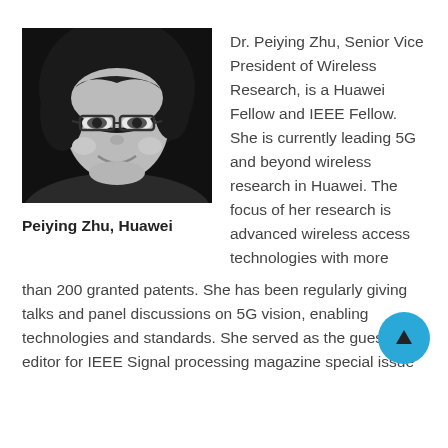[Figure (photo): Black and white headshot photo of Dr. Peiying Zhu, a woman with short dark hair and glasses, smiling.]
Peiying Zhu, Huawei
Dr. Peiying Zhu, Senior Vice President of Wireless Research, is a Huawei Fellow and IEEE Fellow. She is currently leading 5G and beyond wireless research in Huawei. The focus of her research is advanced wireless access technologies with more than 200 granted patents. She has been regularly giving talks and panel discussions on 5G vision, enabling technologies and standards. She served as the guest editor for IEEE Signal processing magazine special issue